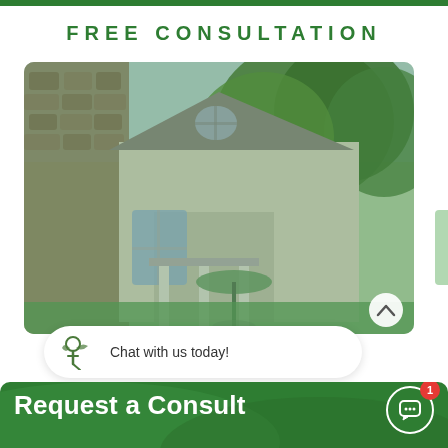FREE CONSULTATION
[Figure (photo): Two-story suburban house with stone facade and large windows, surrounded by mature green trees, viewed from the front yard on a sunny day.]
Chat with us today!
Request a Consult